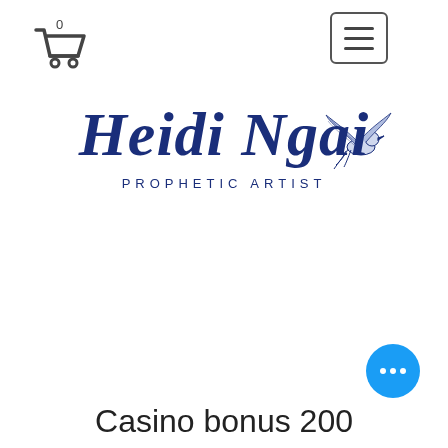[Figure (logo): Cart icon with badge showing 0 in top-left corner]
[Figure (other): Hamburger menu button (three horizontal lines) in a rounded rectangle, top-right]
[Figure (logo): Heidi Ngai Prophetic Artist logo with cursive script text and a dove bird illustration]
[Figure (other): Blue circular chat button with three white dots (ellipsis), bottom-right]
Casino bonus 200